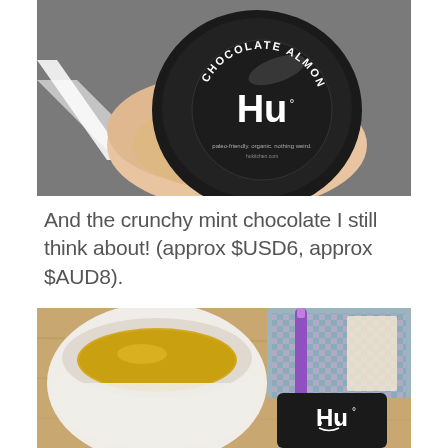[Figure (photo): A hand holding a small round package of Hu Chocolate Almonds in a dark packaging with white text, outdoors on a road surface.]
And the crunchy mint chocolate I still think about! (approx $USD6, approx $AUD8).
[Figure (photo): A white bowl of yellow/green tea next to a Hu chocolate bar package on a wooden surface with a decorative cloth and purple pen.]